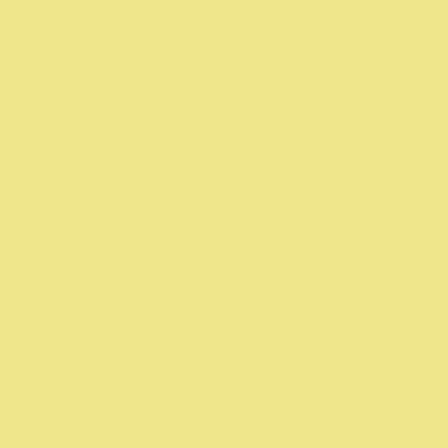Sudan turns
Egypt coun
Egypt studi
Offer the E
Mass Suda
Kuw
Milit Darfu
Kidn Suda
Darfu
Darfu